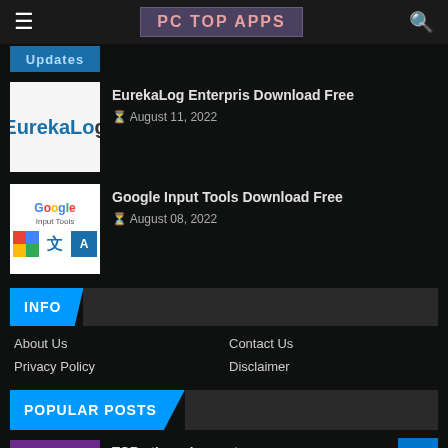PC TOP APPs
[Figure (screenshot): Partial blue banner image at top, partially cropped]
EurekaLog Enterpris Download Free
August 11, 2022
Google Input Tools Download Free
August 08, 2022
INFO
About Us
Contact Us
Privacy Policy
Disclaimer
POPULAR POSTS
TOR - the onion router